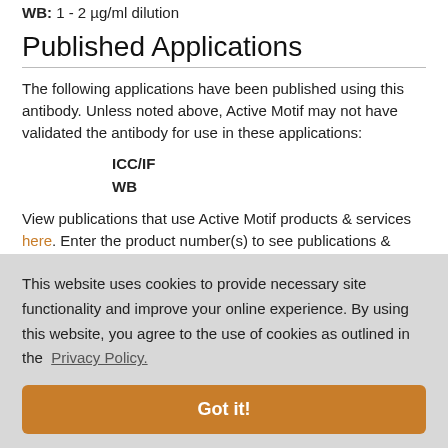WB: 1 - 2 µg/ml dilution
Published Applications
The following applications have been published using this antibody. Unless noted above, Active Motif may not have validated the antibody for use in these applications:
ICC/IF
WB
View publications that use Active Motif products & services here. Enter the product number(s) to see publications & applications that use this antibody.
This website uses cookies to provide necessary site functionality and improve your online experience. By using this website, you agree to the use of cookies as outlined in the Privacy Policy.
Got it!